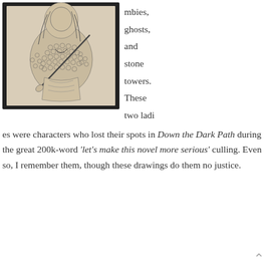[Figure (illustration): A pencil sketch drawing of a woman in a patterned/scale-like top, holding a staff or pole. The drawing is framed with a thick dark border.]
mbies, ghosts, and stone towers. These two ladies were characters who lost their spots in Down the Dark Path during the great 200k-word 'let's make this novel more serious' culling. Even so, I remember them, though these drawings do them no justice.